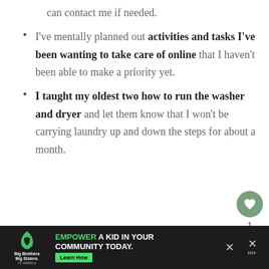can contact me if needed.
I've mentally planned out activities and tasks I've been wanting to take care of online that I haven't been able to make a priority yet.
I taught my oldest two how to run the washer and dryer and let them know that I won't be carrying laundry up and down the steps for about a month.
[Figure (screenshot): Advertisement banner: Big Brothers Big Sisters logo, green text 'EMPOWER A KID IN YOUR COMMUNITY TODAY.' with a 'Learn How' button, close button, and weather icon on the right side.]